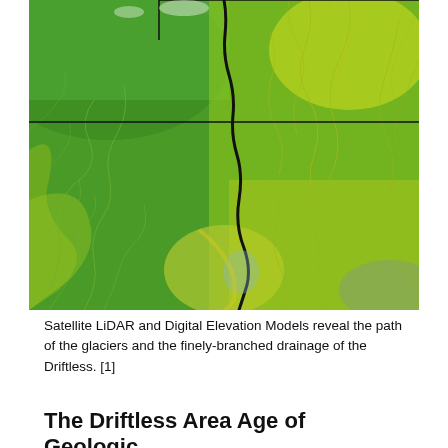[Figure (map): Satellite LiDAR and Digital Elevation Model image showing topography of the Driftless Area region. The image displays green highlands and yellow-green river valleys with finely-branched drainage patterns. A thick black winding line marks the Mississippi River or a major boundary running north-south through the center. Black lines indicate state borders. The left side shows the flat glaciated terrain, while the right and lower areas show the deeply dissected Driftless landscape with dendritic drainage patterns.]
Satellite LiDAR and Digital Elevation Models reveal the path of the glaciers and the finely-branched drainage of the Driftless. [1]
The Driftless Area Age of Geologic